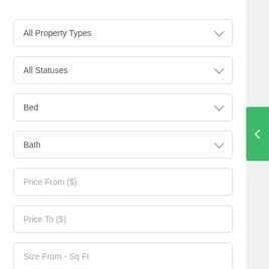All Property Types
All Statuses
Bed
Bath
Price From ($)
Price To ($)
Size From - Sq Ft